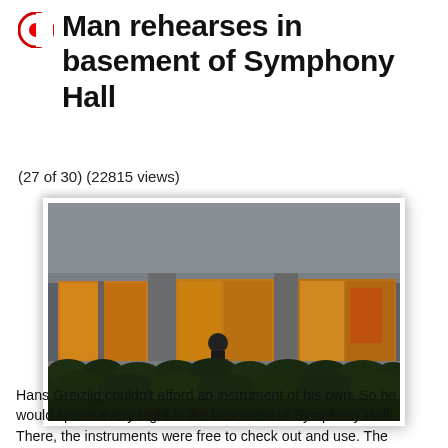Man rehearses in basement of Symphony Hall
(27 of 30) (22815 views)
[Figure (photo): Photograph of the basement windows of Symphony Hall at night, showing a person seated inside illuminated rooms with orange-yellow warm light, exterior concrete facade and dense dark hedges/shrubs in the foreground.]
Hans Greizlig couldn't afford an instrument of his own. So he would spend every night in the basement of Symphony Hall. There, the instruments were free to check out and use. The Symphony Hall intended this service for children, but adults like